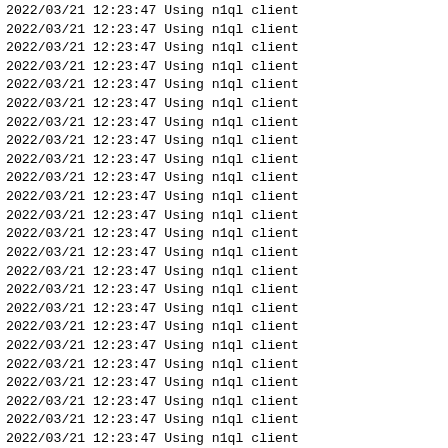2022/03/21 12:23:47 Using n1ql client (repeated ~30 times, top line partially clipped)